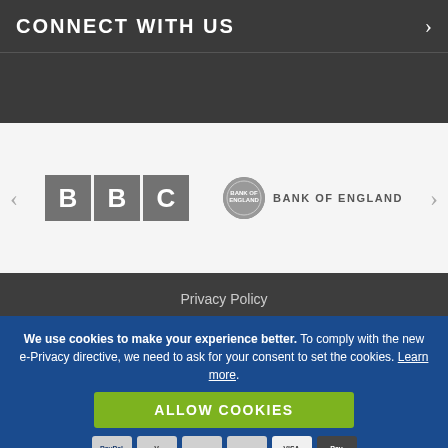CONNECT WITH US
[Figure (logo): BBC logo - three grey squares each containing a letter B, B, C in white]
[Figure (logo): Bank of England logo - grey circular emblem with text BANK OF ENGLAND]
Privacy Policy
Cookie Policy
Terms & Conditions
Sitemap
We use cookies to make your experience better. To comply with the new e-Privacy directive, we need to ask for your consent to set the cookies. Learn more.
ALLOW COOKIES
Road, Garstang, Pa...shire PR3 1GD, UK
[Figure (infographic): Payment icons: PayPal, Visa, Mastercard, and other payment method logos]